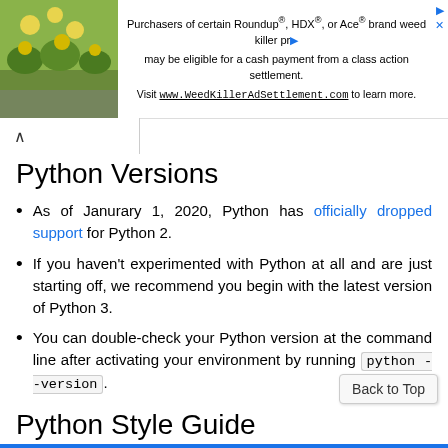[Figure (screenshot): Advertisement banner with plant/flower photo and text about Roundup class action settlement]
Python Versions
As of Janurary 1, 2020, Python has officially dropped support for Python 2.
If you haven't experimented with Python at all and are just starting off, we recommend you begin with the latest version of Python 3.
You can double-check your Python version at the command line after activating your environment by running python --version.
Python Style Guide
Google's Python Style Guide is a fantastic resource